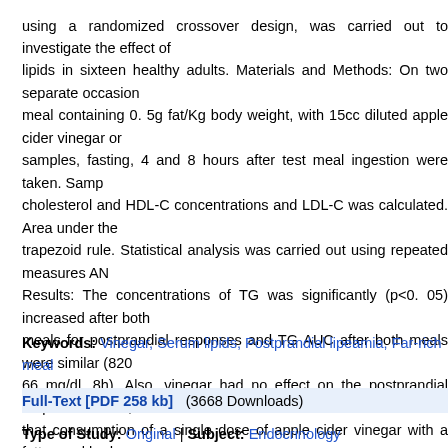using a randomized crossover design, was carried out to investigate the effect of lipids in sixteen healthy adults. Materials and Methods: On two separate occasions meal containing 0. 5g fat/Kg body weight, with 15cc diluted apple cider vinegar or samples, fasting, 4 and 8 hours after test meal ingestion were taken. Samples cholesterol and HDL-C concentrations and LDL-C was calculated. Area under the trapezoid rule. Statistical analysis was carried out using repeated measures AN Results: The concentrations of TG was significantly (p<0. 05) increased after both meals for postprandial responses and TG AUC after both meals were similar (820 66 mg/dl. 8h). Also, vinegar had no effect on the postprandial responses of TC, LD that consumption of a single dose of apple cider vinegar with a fatty meal had no healthy adults. However, to investigate the chronic effects of vinegar on blood recommended.
Keywords: Vinegar, Serum lipids, Postprandial lipeamia, Far-rich meal
Full-Text [PDF 258 kb]   (3668 Downloads)
Type of Study: Original | Subject: Endocrinology